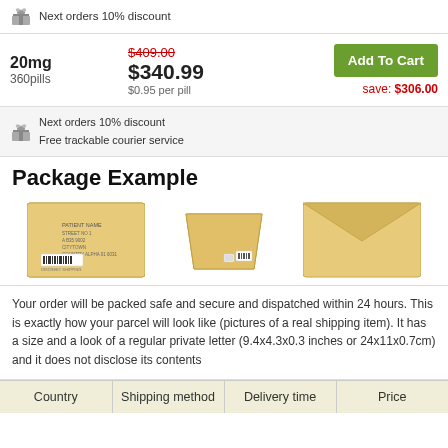Next orders 10% discount
20mg
360pills
$409.00
$340.99
$0.95 per pill
Add To Cart
save: $306.00
Next orders 10% discount
Free trackable courier service
Package Example
[Figure (photo): Three yellow/kraft bubble mailer envelopes shown from different angles: front with address label, side angle, and back.]
Your order will be packed safe and secure and dispatched within 24 hours. This is exactly how your parcel will look like (pictures of a real shipping item). It has a size and a look of a regular private letter (9.4x4.3x0.3 inches or 24x11x0.7cm) and it does not disclose its contents
| Country | Shipping method | Delivery time | Price |
| --- | --- | --- | --- |